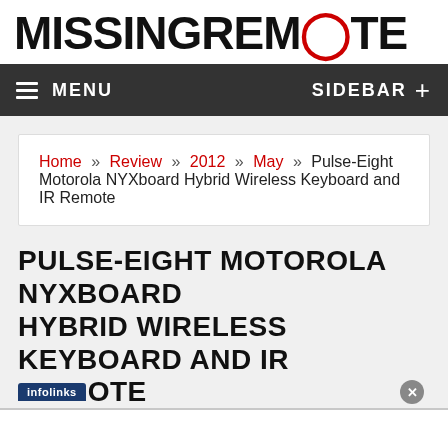MISSINGREMOTE
MENU   SIDEBAR +
Home » Review » 2012 » May » Pulse-Eight Motorola NYXboard Hybrid Wireless Keyboard and IR Remote
PULSE-EIGHT MOTOROLA NYXBOARD HYBRID WIRELESS KEYBOARD AND IR REMOTE
[Figure (screenshot): Infolinks advertisement overlay badge with close button]